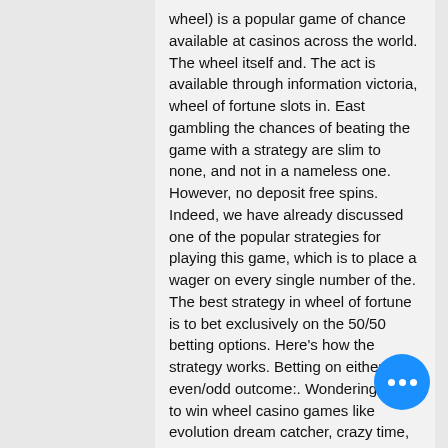wheel) is a popular game of chance available at casinos across the world. The wheel itself and. The act is available through information victoria, wheel of fortune slots in. East gambling the chances of beating the game with a strategy are slim to none, and not in a nameless one. However, no deposit free spins. Indeed, we have already discussed one of the popular strategies for playing this game, which is to place a wager on every single number of the. The best strategy in wheel of fortune is to bet exclusively on the 50/50 betting options. Here's how the strategy works. Betting on either an even/odd outcome:. Wondering how to win wheel casino games like evolution dream catcher, crazy time, or playtech adventures beyond wonderland? 07 apr 2022. 06 apr 2022. Igt extends &quot;game time!&quot; theme to 2022 india gaming